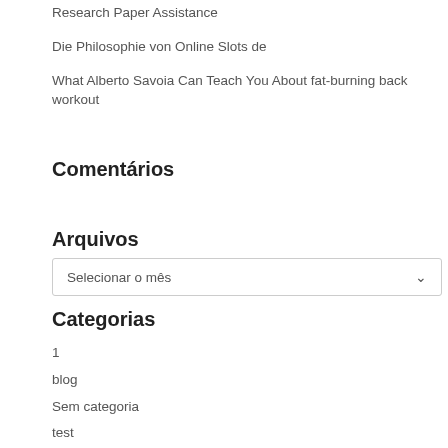Research Paper Assistance
Die Philosophie von Online Slots de
What Alberto Savoia Can Teach You About fat-burning back workout
Comentários
Arquivos
Selecionar o mês
Categorias
1
blog
Sem categoria
test
Test1